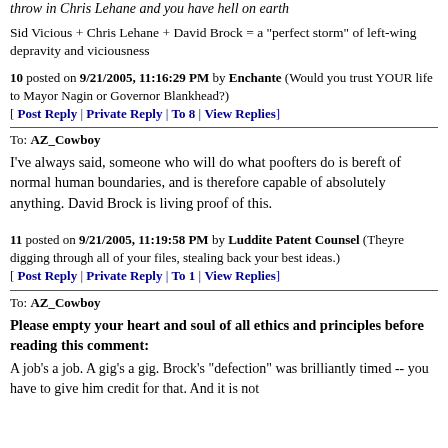throw in Chris Lehane and you have hell on earth
Sid Vicious + Chris Lehane + David Brock = a "perfect storm" of left-wing depravity and viciousness
10 posted on 9/21/2005, 11:16:29 PM by Enchante (Would you trust YOUR life to Mayor Nagin or Governor Blankhead?)
[ Post Reply | Private Reply | To 8 | View Replies]
To: AZ_Cowboy
I've always said, someone who will do what poofters do is bereft of normal human boundaries, and is therefore capable of absolutely anything. David Brock is living proof of this.
11 posted on 9/21/2005, 11:19:58 PM by Luddite Patent Counsel (Theyre digging through all of your files, stealing back your best ideas.)
[ Post Reply | Private Reply | To 1 | View Replies]
To: AZ_Cowboy
Please empty your heart and soul of all ethics and principles before reading this comment:
A job's a job. A gig's a gig. Brock's "defection" was brilliantly timed -- you have to give him credit for that. And it is not